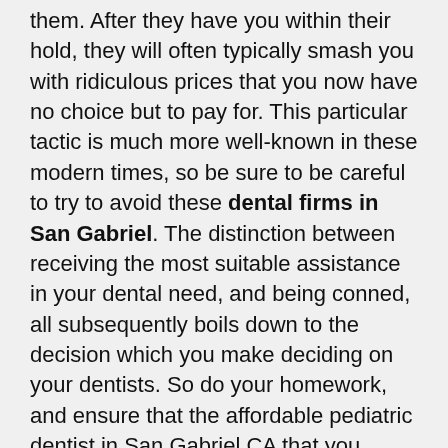them. After they have you within their hold, they will often typically smash you with ridiculous prices that you now have no choice but to pay for. This particular tactic is much more well-known in these modern times, so be sure to be careful to try to avoid these dental firms in San Gabriel. The distinction between receiving the most suitable assistance in your dental need, and being conned, all subsequently boils down to the decision which you make deciding on your dentists. So do your homework, and ensure that the affordable pediatric dentist in San Gabriel CA that you engage with fulfill these qualifying factors.